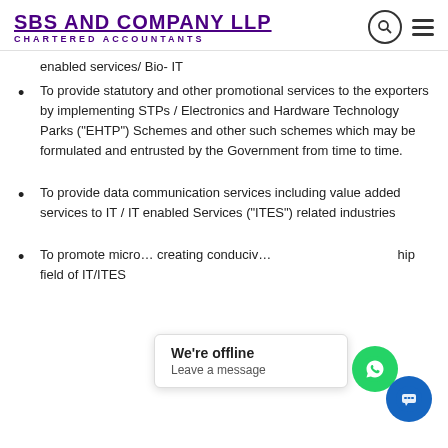SBS AND COMPANY LLP CHARTERED ACCOUNTANTS
enabled services/ Bio- IT
To provide statutory and other promotional services to the exporters by implementing STPs / Electronics and Hardware Technology Parks (“EHTP”) Schemes and other such schemes which may be formulated and entrusted by the Government from time to time.
To provide data communication services including value added services to IT / IT enabled Services (“ITES”) related industries
To promote micro... creating conduciv... hip... field of IT/ITES